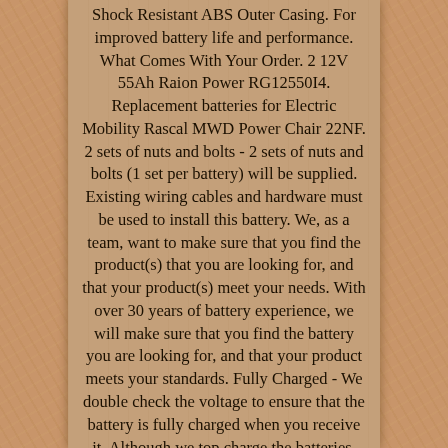Shock Resistant ABS Outer Casing. For improved battery life and performance. What Comes With Your Order. 2 12V 55Ah Raion Power RG12550I4. Replacement batteries for Electric Mobility Rascal MWD Power Chair 22NF. 2 sets of nuts and bolts - 2 sets of nuts and bolts (1 set per battery) will be supplied. Existing wiring cables and hardware must be used to install this battery. We, as a team, want to make sure that you find the product(s) that you are looking for, and that your product(s) meet your needs. With over 30 years of battery experience, we will make sure that you find the battery you are looking for, and that your product meets your standards. Fully Charged - We double check the voltage to ensure that the battery is fully charged when you receive it. Although we top charge the batteries, we recommend you to put the batteries on charge when you receive them.

Orders placed prior to 11 A. This means